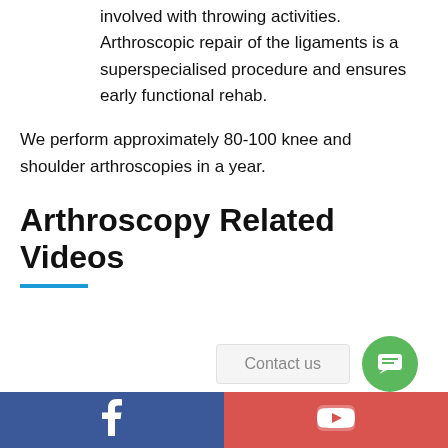involved with throwing activities. Arthroscopic repair of the ligaments is a superspecialised procedure and ensures early functional rehab.
We perform approximately 80-100 knee and shoulder arthroscopies in a year.
Arthroscopy Related Videos
Contact us
Facebook | YouTube